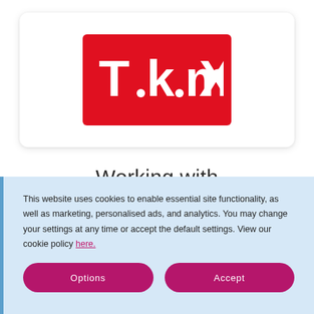[Figure (logo): TK Maxx logo — white stylized text 'T·k·maX' on red/crimson background rectangle]
Working with
This website uses cookies to enable essential site functionality, as well as marketing, personalised ads, and analytics. You may change your settings at any time or accept the default settings. View our cookie policy here.
Options
Accept